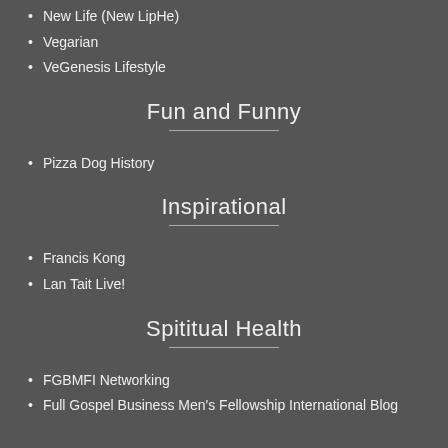New Life (New LipHe)
Vegarian
VeGenesis Lifestyle
Fun and Funny
Pizza Dog History
Inspirational
Francis Kong
Lan Tait Live!
Spititual Health
FGBMFI Networking
Full Gospel Business Men's Fellowship International Blog